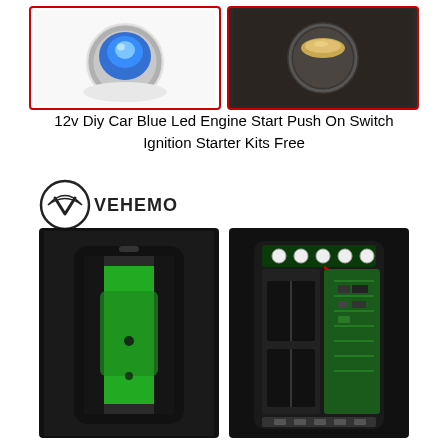[Figure (photo): Two product photos at top: left shows a blue LED push button switch with red border, right shows a metal ignition starter button with dark background and red border]
12v Diy Car Blue Led Engine Start Push On Switch Ignition Starter Kits Free
[Figure (logo): VEHEMO brand logo in black and white]
[Figure (photo): Two product photos of a car jump starter device: left shows the black and green exterior casing, right shows the internal circuit board and battery compartment]